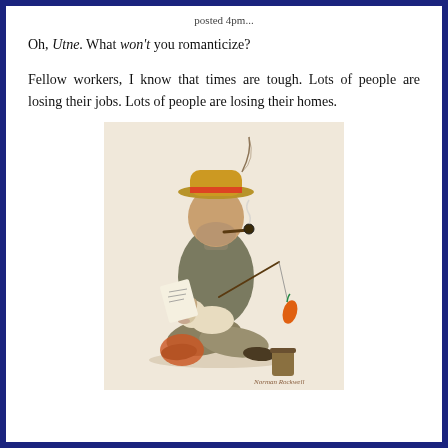posted 4pm...
Oh, Utne. What won't you romanticize?
Fellow workers, I know that times are tough. Lots of people are losing their jobs. Lots of people are losing their homes.
[Figure (illustration): A Norman Rockwell-style illustration of an old hobo man sitting cross-legged, wearing a battered straw hat with a feather, smoking a pipe, holding a fishing rod with a carrot dangling at the end near a small dog on his lap. He has a bindle/sack behind him and a tin cup or bucket nearby. Sepia/warm toned vintage illustration.]